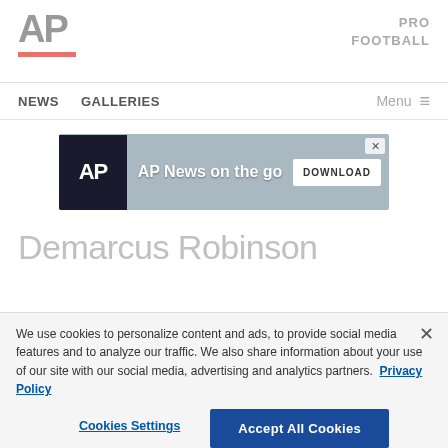[Figure (logo): AP (Associated Press) logo in gray with red underline bar]
PRO
FOOTBALL
NEWS   GALLERIES   Menu ≡
[Figure (screenshot): AP News on the go - DOWNLOAD advertisement banner with silhouetted crowd and cameras]
Demarcus Robinson
We use cookies to personalize content and ads, to provide social media features and to analyze our traffic. We also share information about your use of our site with our social media, advertising and analytics partners. Privacy Policy
Cookies Settings   Accept All Cookies